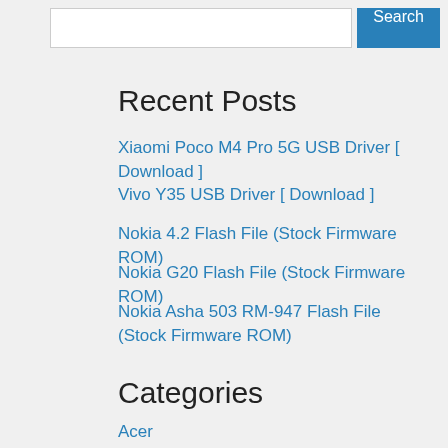Search
Recent Posts
Xiaomi Poco M4 Pro 5G USB Driver [ Download ]
Vivo Y35 USB Driver [ Download ]
Nokia 4.2 Flash File (Stock Firmware ROM)
Nokia G20 Flash File (Stock Firmware ROM)
Nokia Asha 503 RM-947 Flash File (Stock Firmware ROM)
Categories
Acer